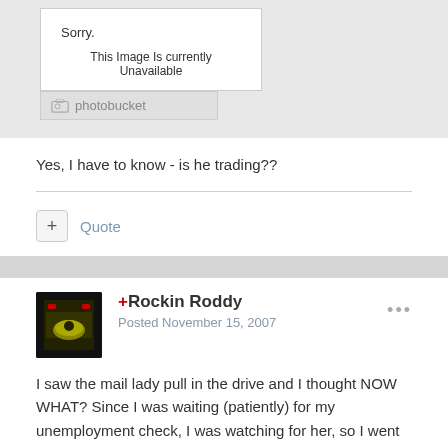[Figure (screenshot): Photobucket image placeholder showing 'Sorry. This Image Is Currently Unavailable' with Photobucket logo below]
Yes, I have to know - is he trading??
Quote
+Rockin Roddy
Posted November 15, 2007
I saw the mail lady pull in the drive and I thought NOW WHAT? Since I was waiting (patiently) for my unemployment check, I was watching for her, so I went out and met her!! As I approach, I see her searching for something, she says I have a package, but can't find it?